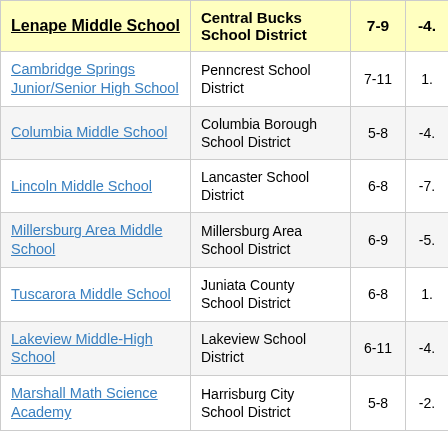| Lenape Middle School | Central Bucks School District | 7-9 | 4. |
| --- | --- | --- | --- |
| Cambridge Springs Junior/Senior High School | Penncrest School District | 7-11 | 1. |
| Columbia Middle School | Columbia Borough School District | 5-8 | -4. |
| Lincoln Middle School | Lancaster School District | 6-8 | -7. |
| Millersburg Area Middle School | Millersburg Area School District | 6-9 | -5. |
| Tuscarora Middle School | Juniata County School District | 6-8 | 1. |
| Lakeview Middle-High School | Lakeview School District | 6-11 | -4. |
| Marshall Math Science Academy | Harrisburg City School District | 5-8 | -2. |